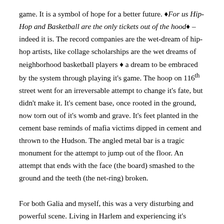game. It is a symbol of hope for a better future. ❖For us Hip-Hop and Basketball are the only tickets out of the hood❖ – indeed it is. The record companies are the wet-dream of hip-hop artists, like collage scholarships are the wet dreams of neighborhood basketball players ❖ a dream to be embraced by the system through playing it's game. The hoop on 116th street went for an irreversable attempt to change it's fate, but didn't make it. It's cement base, once rooted in the ground, now torn out of it's womb and grave. It's feet planted in the cement base reminds of mafia victims dipped in cement and thrown to the Hudson. The angled metal bar is a tragic monument for the attempt to jump out of the floor. An attempt that ends with the face (the board) smashed to the ground and the teeth (the net-ring) broken.
For both Galia and myself, this was a very disturbing and powerful scene. Living in Harlem and experiencing it's social contrast with downtown on a daily basis, we felt like this experience should be shared, should be appreciated, should be